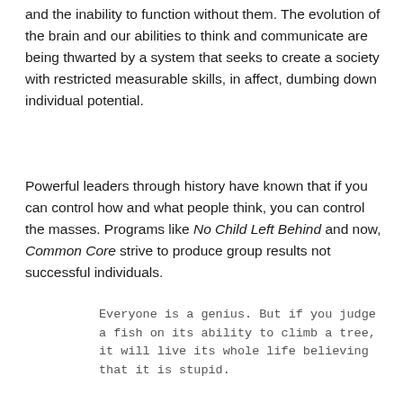and the inability to function without them. The evolution of the brain and our abilities to think and communicate are being thwarted by a system that seeks to create a society with restricted measurable skills, in affect, dumbing down individual potential.
Powerful leaders through history have known that if you can control how and what people think, you can control the masses. Programs like No Child Left Behind and now, Common Core strive to produce group results not successful individuals.
Everyone is a genius. But if you judge a fish on its ability to climb a tree, it will live its whole life believing that it is stupid.